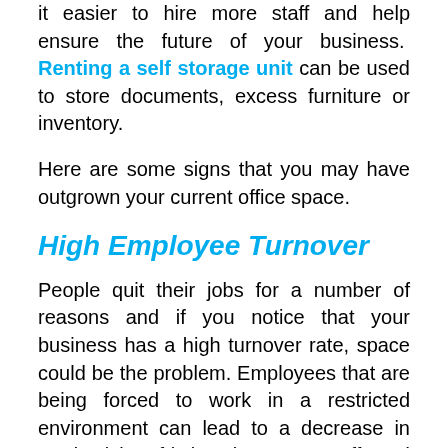it easier to hire more staff and help ensure the future of your business. Renting a self storage unit can be used to store documents, excess furniture or inventory.
Here are some signs that you may have outgrown your current office space.
High Employee Turnover
People quit their jobs for a number of reasons and if you notice that your business has a high turnover rate, space could be the problem. Employees that are being forced to work in a restricted environment can lead to a decrease in productivity, friction between staff and negative attitudes.      This may seem obvious but recognizing and solving the problem is the challenge.  Get to know your employees needs so you can accommodate them and provide a